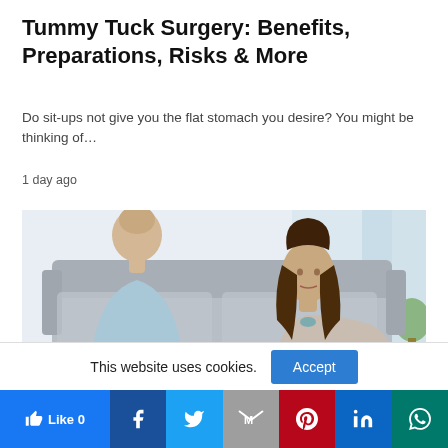Tummy Tuck Surgery: Benefits, Preparations, Risks & More
Do sit-ups not give you the flat stomach you desire? You might be thinking of…
1 day ago
[Figure (photo): Two women sitting on a grey sofa having a conversation in a bright room. One woman faces away from camera wearing blue, the other with long brown hair faces forward.]
This website uses cookies.
Accept